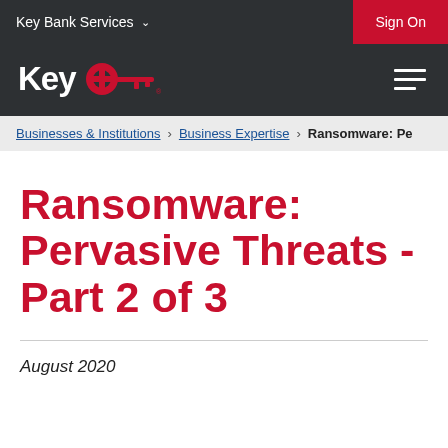Key Bank Services   Sign On
[Figure (logo): KeyBank logo with red key icon and white 'Key' text, with hamburger menu icon on right]
Businesses & Institutions > Business Expertise > Ransomware: Pe
Ransomware: Pervasive Threats - Part 2 of 3
August 2020